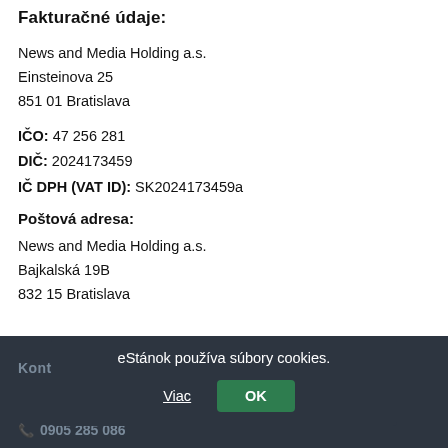Fakturačné údaje:
News and Media Holding a.s.
Einsteinova 25
851 01 Bratislava
IČO: 47 256 281
DIČ: 2024173459
IČ DPH (VAT ID): SK2024173459a
Poštová adresa:
News and Media Holding a.s.
Bajkalská 19B
832 15 Bratislava
Kontakt:
0905 285 086
eStánok používa súbory cookies.
Viac
OK